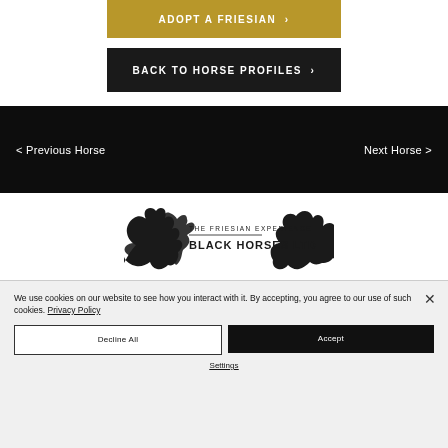ADOPT A FRIESIAN >
BACK TO HORSE PROFILES >
< Previous Horse    Next Horse >
[Figure (logo): The Friesian Experience Black Horses Ltd logo with two rearing horse silhouettes flanking text]
We use cookies on our website to see how you interact with it. By accepting, you agree to our use of such cookies. Privacy Policy
Decline All
Accept
Settings